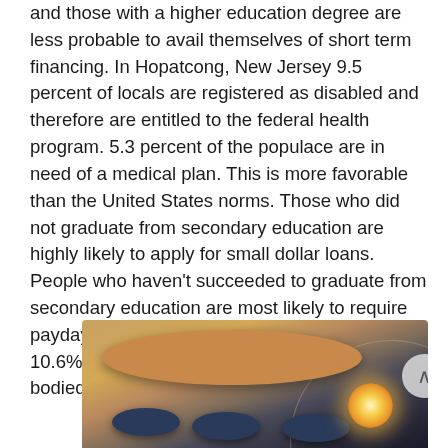and those with a higher education degree are less probable to avail themselves of short term financing. In Hopatcong, New Jersey 9.5 percent of locals are registered as disabled and therefore are entitled to the federal health program. 5.3 percent of the populace are in need of a medical plan. This is more favorable than the United States norms. Those who did not graduate from secondary education are highly likely to apply for small dollar loans. People who haven't succeeded to graduate from secondary education are most likely to require payday advances. In Collingswood, New Jersey 10.6% of the locals are registered as not able bodied and thus are eligible for federal support.
[Figure (photo): Interior photo showing a round orange/tan table top with dark blue seat cushions below, illuminated ceiling structure in background with a warm light fixture visible on the right side.]